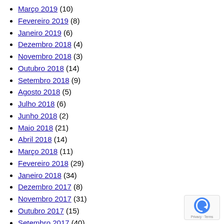Março 2019 (10)
Fevereiro 2019 (8)
Janeiro 2019 (6)
Dezembro 2018 (4)
Novembro 2018 (3)
Outubro 2018 (14)
Setembro 2018 (9)
Agosto 2018 (5)
Julho 2018 (6)
Junho 2018 (2)
Maio 2018 (21)
Abril 2018 (14)
Março 2018 (11)
Fevereiro 2018 (29)
Janeiro 2018 (34)
Dezembro 2017 (8)
Novembro 2017 (31)
Outubro 2017 (15)
Setembro 2017 (40)
Agosto 2017 (20)
Julho 2017 (24)
Junho 2017 (18)
Maio 2017 (1)
Abril 2017 (1)
Fevereiro 2017 (1)